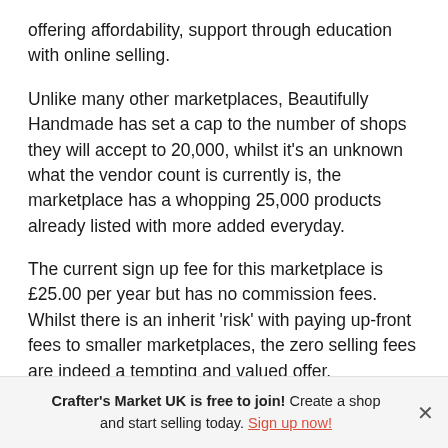offering affordability, support through education with online selling.
Unlike many other marketplaces, Beautifully Handmade has set a cap to the number of shops they will accept to 20,000, whilst it's an unknown what the vendor count is currently is, the marketplace has a whopping 25,000 products already listed with more added everyday.
The current sign up fee for this marketplace is £25.00 per year but has no commission fees. Whilst there is an inherit 'risk' with paying up-front fees to smaller marketplaces, the zero selling fees are indeed a tempting and valued offer.
A partially obscured paragraph continues...
Crafter's Market UK is free to join! Create a shop and start selling today. Sign up now!